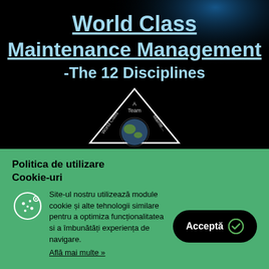[Figure (screenshot): Book/course cover image with dark/black background showing text 'World Class Maintenance Management -The 12 Disciplines' with a triangular logo containing a globe and the words 'A Team', 'World Class', 'Mainte...' on a dark background with blue lighting effects.]
Politica de utilizare Cookie-uri
Site-ul nostru utilizează module cookie și alte tehnologii similare pentru a optimiza funcționalitatea si a îmbunătăți experiența de navigare.
Află mai multe »
Acceptă ✓